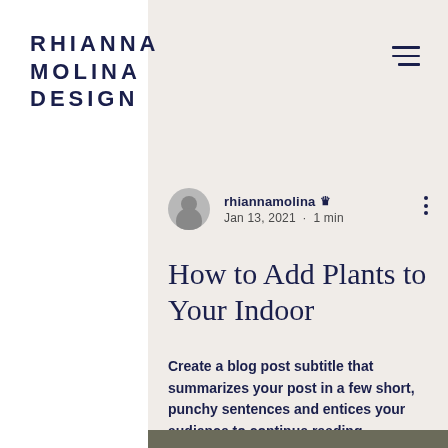RHIANNA MOLINA DESIGN
rhiannamolina 👑 Jan 13, 2021 · 1 min
How to Add Plants to Your Indoor
Create a blog post subtitle that summarizes your post in a few short, punchy sentences and entices your audience to continue reading.